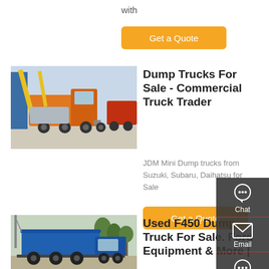with
Get a Quote
[Figure (photo): Orange dump trucks / tractor units parked in a yard with yellow crane equipment]
Dump Trucks For Sale - Commercial Truck Trader
JDM Mini Dump trucks from Suzuki, Subaru, Daihatsu for Sale
Get a Quote
[Figure (photo): Blue dump truck parked outdoors]
Used F450 Dump Truck For Sale. Ford Equipment & More |